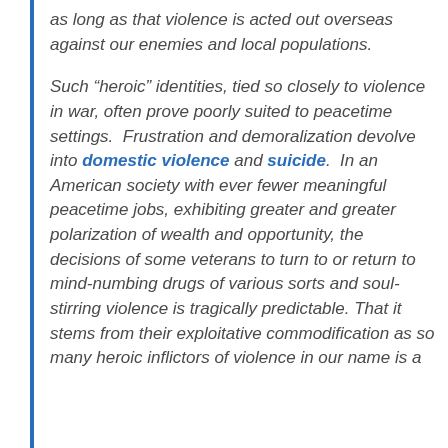as long as that violence is acted out overseas against our enemies and local populations.
Such “heroic” identities, tied so closely to violence in war, often prove poorly suited to peacetime settings. Frustration and demoralization devolve into domestic violence and suicide. In an American society with ever fewer meaningful peacetime jobs, exhibiting greater and greater polarization of wealth and opportunity, the decisions of some veterans to turn to or return to mind-numbing drugs of various sorts and soul-stirring violence is tragically predictable. That it stems from their exploitative commodification as so many heroic inflictors of violence in our name is a